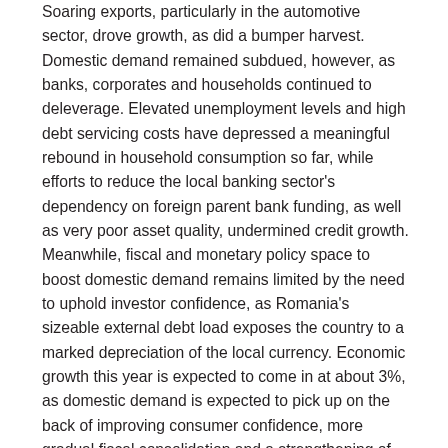Soaring exports, particularly in the automotive sector, drove growth, as did a bumper harvest. Domestic demand remained subdued, however, as banks, corporates and households continued to deleverage. Elevated unemployment levels and high debt servicing costs have depressed a meaningful rebound in household consumption so far, while efforts to reduce the local banking sector's dependency on foreign parent bank funding, as well as very poor asset quality, undermined credit growth. Meanwhile, fiscal and monetary policy space to boost domestic demand remains limited by the need to uphold investor confidence, as Romania's sizeable external debt load exposes the country to a marked depreciation of the local currency. Economic growth this year is expected to come in at about 3%, as domestic demand is expected to pick up on the back of improving consumer confidence, more gradual fiscal consolidation and a strengthening of investment. Meanwhile, the growth contribution of net exports should remain positive in spite of rising imports. The risks to the outlook are slightly tilted to the downside, as risk aversion vis-à-vis Romania may increase due to its large gross external financing requirement (26% of GDP in 2014) and very weak and deteriorating asset quality of the local banking sector. Foreign banks in particular may feel tempted to further reduce financing for Romanian corporate and retail clients, if